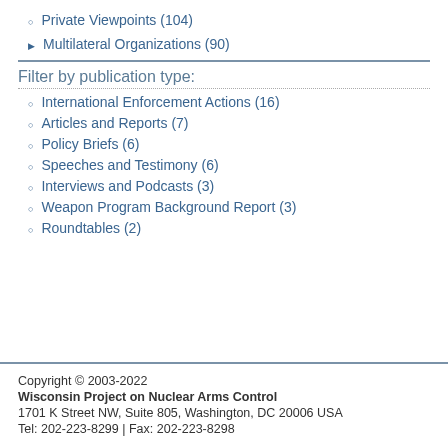Private Viewpoints (104)
Multilateral Organizations (90)
Filter by publication type:
International Enforcement Actions (16)
Articles and Reports (7)
Policy Briefs (6)
Speeches and Testimony (6)
Interviews and Podcasts (3)
Weapon Program Background Report (3)
Roundtables (2)
Copyright © 2003-2022
Wisconsin Project on Nuclear Arms Control
1701 K Street NW, Suite 805, Washington, DC 20006 USA
Tel: 202-223-8299 | Fax: 202-223-8298